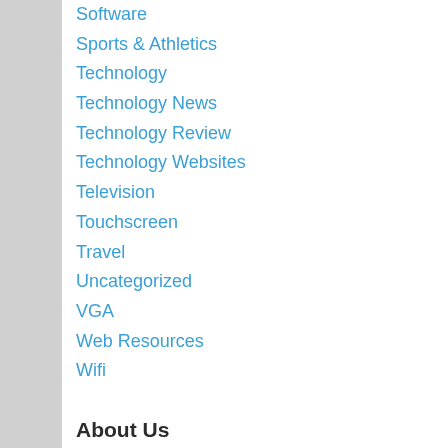Software
Sports & Athletics
Technology
Technology News
Technology Review
Technology Websites
Television
Touchscreen
Travel
Uncategorized
VGA
Web Resources
Wifi
About Us
Home
Advertise Here
Contact Us
Disclosure Policy
Sitemap